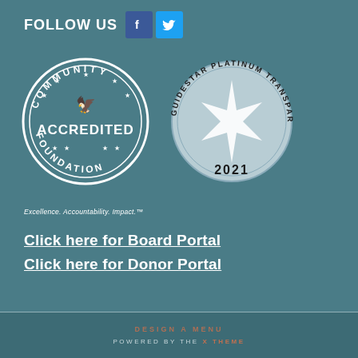FOLLOW US
[Figure (logo): Facebook and Twitter social media icons]
[Figure (logo): Community Accredited Foundation circular badge/seal with stars and wing emblem, text: COMMUNITY ACCREDITED FOUNDATION]
[Figure (logo): Guidestar Platinum Transparency 2021 circular seal with star burst design]
Excellence. Accountability. Impact.™
Click here for Board Portal
Click here for Donor Portal
DESIGN A MENU
POWERED BY THE X THEME